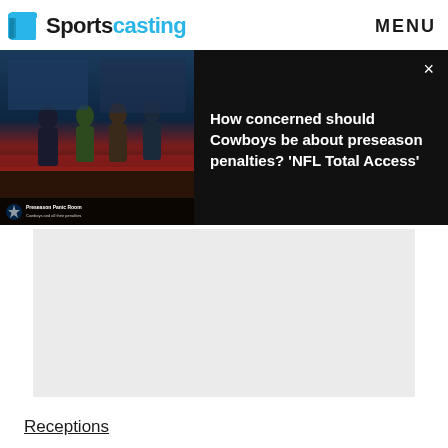Sportscasting  MENU
[Figure (screenshot): Video thumbnail showing NFL studio set with hosts, overlaid with dark panel containing video title text and close button]
How concerned should Cowboys be about preseason penalties? 'NFL Total Access'
[Figure (other): Advertisement placeholder (light gray rectangle)]
Receptions